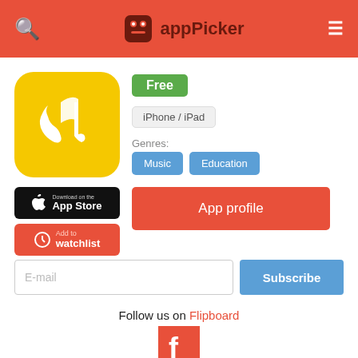appPicker
[Figure (logo): App icon: yellow rounded square with white musical note and stylized face silhouette]
Free
iPhone / iPad
Genres:
Music
Education
Download on the App Store
Add to watchlist
App profile
E-mail
Subscribe
Follow us on Flipboard
[Figure (logo): Flipboard red square logo with white F letter]